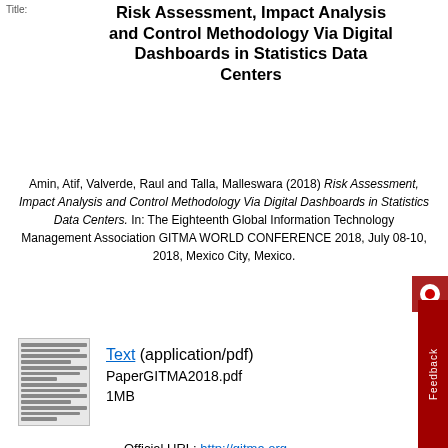Title:
Risk Assessment, Impact Analysis and Control Methodology Via Digital Dashboards in Statistics Data Centers
Amin, Atif, Valverde, Raul and Talla, Malleswara (2018) Risk Assessment, Impact Analysis and Control Methodology Via Digital Dashboards in Statistics Data Centers. In: The Eighteenth Global Information Technology Management Association GITMA WORLD CONFERENCE 2018, July 08-10, 2018, Mexico City, Mexico.
[Figure (other): Thumbnail preview of a PDF document]
Text (application/pdf)
PaperGITMA2018.pdf
1MB
Official URL: http://gitma.org
Abstract
Every system, when connected to a network, is susceptible to threat of being hacked. It is important to protect all systems of